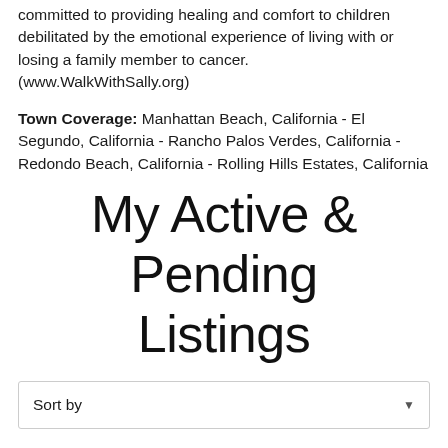committed to providing healing and comfort to children debilitated by the emotional experience of living with or losing a family member to cancer. (www.WalkWithSally.org)
Town Coverage: Manhattan Beach, California - El Segundo, California - Rancho Palos Verdes, California - Redondo Beach, California - Rolling Hills Estates, California
My Active & Pending Listings
Sort by
1 Properties | Page 1 of 1